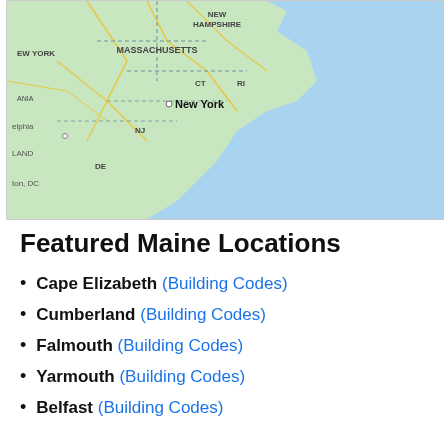[Figure (map): Google Maps view showing northeastern US coastline including New York, Massachusetts, New Hampshire, Connecticut, Rhode Island, New Jersey, Delaware, DC area, with Atlantic Ocean to the right. New York city is prominently labeled.]
Featured Maine Locations
Cape Elizabeth (Building Codes)
Cumberland (Building Codes)
Falmouth (Building Codes)
Yarmouth (Building Codes)
Belfast (Building Codes)